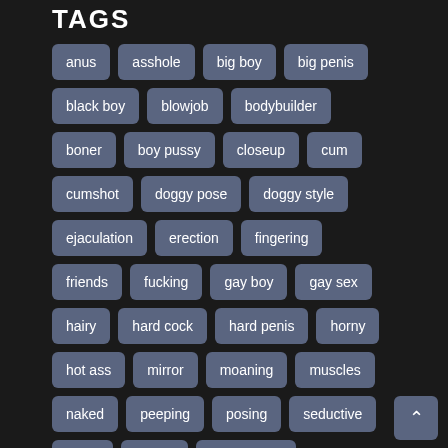TAGS
anus
asshole
big boy
big penis
black boy
blowjob
bodybuilder
boner
boy pussy
closeup
cum
cumshot
doggy pose
doggy style
ejaculation
erection
fingering
friends
fucking
gay boy
gay sex
hairy
hard cock
hard penis
horny
hot ass
mirror
moaning
muscles
naked
peeping
posing
seductive
selfie
skinny
smooth ass